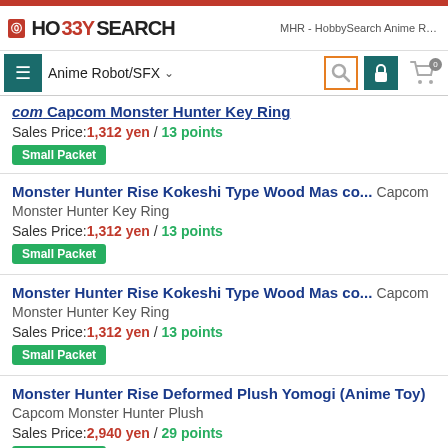MHR - HobbySearch Anime Robot/S...
com Capcom Monster Hunter Key Ring | Sales Price: 1,312 yen / 13 points | Small Packet
Monster Hunter Rise Kokeshi Type Wood Mas co... Capcom Monster Hunter Key Ring | Sales Price: 1,312 yen / 13 points | Small Packet
Monster Hunter Rise Kokeshi Type Wood Mas co... Capcom Monster Hunter Key Ring | Sales Price: 1,312 yen / 13 points | Small Packet
Monster Hunter Rise Deformed Plush Yomogi (Anime Toy) Capcom Monster Hunter Plush | Sales Price: 2,940 yen / 29 points | Small Packet
Capcom Figure Builder Creators Model Wyver n ... Capcom Monster Hunter Capcom Figure Builder ...